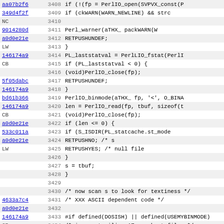| hash | line | code |
| --- | --- | --- |
| aa07b2f6 | 3408 | if (!(fp = PerlIO_open(SVPVX_const(P |
| 349d4f2f | 3409 |     if (ckWARN(WARN_NEWLINE) && strc |
| NC | 3410 |  |
| 9014280d | 3411 |             Perl_warner(aTHX_ packWARN(W |
| a0d0e21e | 3412 |         RETPUSHUNDEF; |
| LW | 3413 |     } |
| 146174a9 | 3414 |     PL_laststatval = PerlLIO_fstat(PerlI |
| CB | 3415 |     if (PL_laststatval < 0) { |
|  | 3416 |         (void)PerlIO_close(fp); |
| 5f05dabc | 3417 |         RETPUSHUNDEF; |
| 146174a9 | 3418 |     } |
| bd61b366 | 3419 |     PerlIO_binmode(aTHX_ fp, '<', O_BINA |
| 146174a9 | 3420 |     len = PerlIO_read(fp, tbuf, sizeof(t |
| CB | 3421 |     (void)PerlIO_close(fp); |
| a0d0e21e | 3422 |     if (len <= 0) { |
| 533c011a | 3423 |         if (S_ISDIR(PL_statcache.st_mode |
| a0d0e21e | 3424 |             RETPUSHNO;            /* s |
| LW | 3425 |         RETPUSHYES;       /* null file |
|  | 3426 |     } |
|  | 3427 |     s = tbuf; |
|  | 3428 |     } |
|  | 3429 |  |
|  | 3430 |     /* now scan s to look for textiness */ |
| 4633a7c4 | 3431 |     /*   XXX ASCII dependent code */ |
| a0d0e21e | 3432 |  |
| 146174a9 | 3433 | #if defined(DOSISH) || defined(USEMYBINMODE) |
| CB | 3434 |     /* ignore trailing ^Z on short files */ |
| 58c0efa5 | 3435 |     if (len && len < (I32)sizeof(tbuf) && tb |
| 146174a9 | 3436 |         --len; |
| CB | 3437 | #endif |
|  | 3438 |  |
| a0d0e21e | 3439 |     for (i = 0; i < len; i++, s++) { |
| LW | 3440 |  |